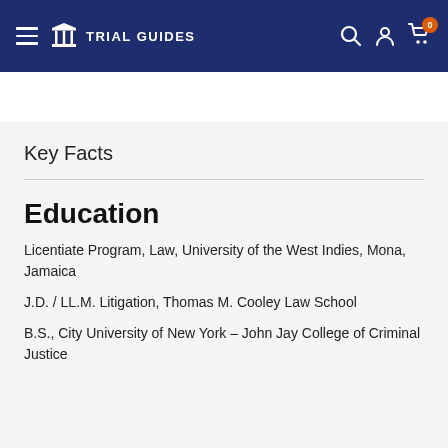Trial Guides
Key Facts
Education
Licentiate Program, Law, University of the West Indies, Mona, Jamaica
J.D. / LL.M. Litigation, Thomas M. Cooley Law School
B.S., City University of New York – John Jay College of Criminal Justice